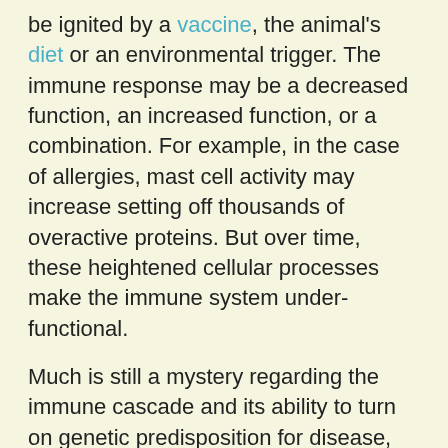be ignited by a vaccine, the animal's diet or an environmental trigger. The immune response may be a decreased function, an increased function, or a combination. For example, in the case of allergies, mast cell activity may increase setting off thousands of overactive proteins. But over time, these heightened cellular processes make the immune system under-functional.
Much is still a mystery regarding the immune cascade and its ability to turn on genetic predisposition for disease, but we know that certain breeds are very prone to immune-mediated diseases. For example, West Highland Terriers are prone to skin allergies and secondary staphylococcal infections, causing red itchy circular patches on the belly and the armpits. Boxers are prone to mast cell cancer, likely due to a underlying immune-mediated trigger.